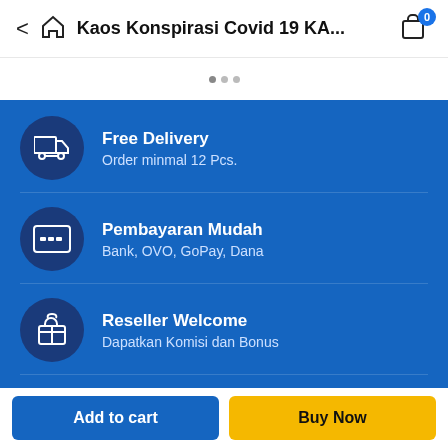Kaos Konspirasi Covid 19 KA...
Free Delivery — Order minmal 12 Pcs.
Pembayaran Mudah — Bank, OVO, GoPay, Dana
Reseller Welcome — Dapatkan Komisi dan Bonus
Desain Custom Spport